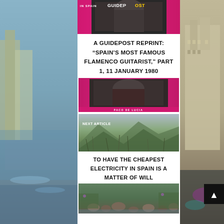[Figure (photo): Pink magazine cover with black and white portrait photo, Guidepost magazine top strip]
A GUIDEPOST REPRINT: “SPAIN’S MOST FAMOUS FLAMENCO GUITARIST,” PART 1, 11 JANUARY 1980
[Figure (photo): Pink magazine cover featuring Paco de Lucia portrait in black and white]
[Figure (photo): Next article thumbnail: mountain landscape with grass and hills, labeled NEXT ARTICLE]
TO HAVE THE CHEAPEST ELECTRICITY IN SPAIN IS A MATTER OF WILL
[Figure (photo): Stream with rocks and stones, green vegetation and purple flowers on the sides]